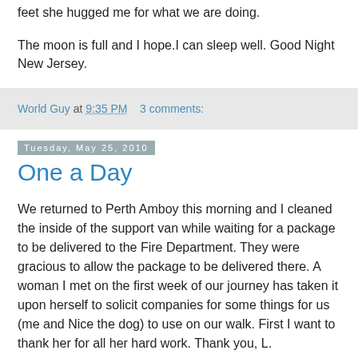feet she hugged me for what we are doing.
The moon is full and I hope.I can sleep well. Good Night New Jersey.
World Guy at 9:35 PM    3 comments:
Tuesday, May 25, 2010
One a Day
We returned to Perth Amboy this morning and I cleaned the inside of the support van while waiting for a package to be delivered to the Fire Department. They were gracious to allow the package to be delivered there. A woman I met on the first week of our journey has taken it upon herself to solicit companies for some things for us (me and Nice the dog) to use on our walk. First I want to thank her for all her hard work. Thank you, L.
Thanks to Red Wing for the Vasque hiking boots. I wore one pair of Vasque on my 570 mile trip from Kentucky to Kansas